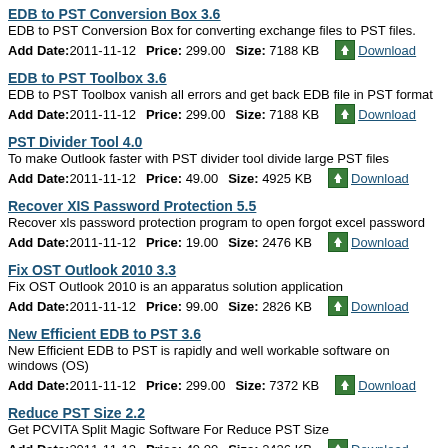EDB to PST Conversion Box 3.6
EDB to PST Conversion Box for converting exchange files to PST files.
Add Date:2011-11-12   Price: 299.00   Size: 7188 KB   Download
EDB to PST Toolbox 3.6
EDB to PST Toolbox vanish all errors and get back EDB file in PST format
Add Date:2011-11-12   Price: 299.00   Size: 7188 KB   Download
PST Divider Tool 4.0
To make Outlook faster with PST divider tool divide large PST files
Add Date:2011-11-12   Price: 49.00   Size: 4925 KB   Download
Recover XIS Password Protection 5.5
Recover xls password protection program to open forgot excel password
Add Date:2011-11-12   Price: 19.00   Size: 2476 KB   Download
Fix OST Outlook 2010 3.3
Fix OST Outlook 2010 is an apparatus solution application
Add Date:2011-11-12   Price: 99.00   Size: 2826 KB   Download
New Efficient EDB to PST 3.6
New Efficient EDB to PST is rapidly and well workable software on windows (OS)
Add Date:2011-11-12   Price: 299.00   Size: 7372 KB   Download
Reduce PST Size 2.2
Get PCVITA Split Magic Software For Reduce PST Size
Add Date:2011-11-12   Price: 49.00   Size: 2426 KB   Download
Split PST Data 2.2
PST File Splitter Software to Split PST Data in Few easy steps